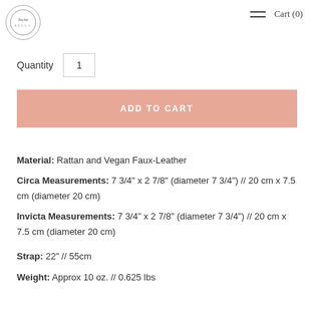Cart (0)
Quantity  1
ADD TO CART
Material:  Rattan and Vegan Faux-Leather
Circa Measurements: 7 3/4" x 2 7/8" (diameter 7 3/4") // 20 cm x 7.5 cm (diameter 20 cm)
Invicta Measurements: 7 3/4" x 2 7/8" (diameter 7 3/4") // 20 cm x 7.5 cm (diameter 20 cm)
Strap: 22" // 55cm
Weight: Approx 10 oz. // 0.625 lbs